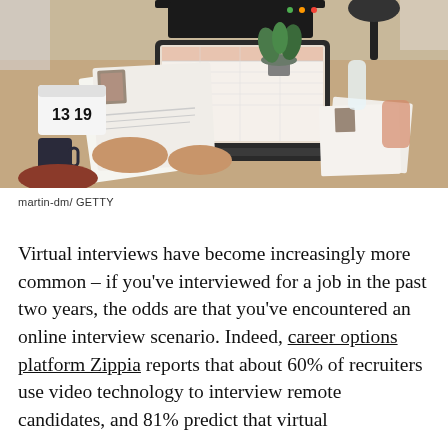[Figure (photo): Overhead view of a desk workspace with a person holding resume/CV documents with a photo, a laptop showing a calendar/spreadsheet, a desktop monitor with video call interface (green and red dots), a desk lamp, coffee mug, bowl of cereal, plant, clock showing 13 and 19, water bottle, and a pink/orange glass.]
martin-dm/ GETTY
Virtual interviews have become increasingly more common – if you've interviewed for a job in the past two years, the odds are that you've encountered an online interview scenario. Indeed, career options platform Zippia reports that about 60% of recruiters use video technology to interview remote candidates, and 81% predict that virtual